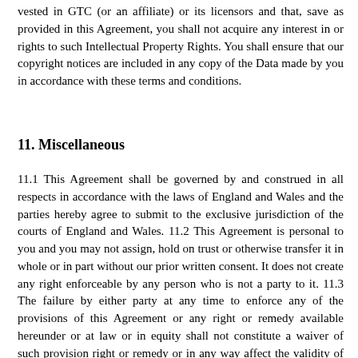vested in GTC (or an affiliate) or its licensors and that, save as provided in this Agreement, you shall not acquire any interest in or rights to such Intellectual Property Rights. You shall ensure that our copyright notices are included in any copy of the Data made by you in accordance with these terms and conditions.
11. Miscellaneous
11.1 This Agreement shall be governed by and construed in all respects in accordance with the laws of England and Wales and the parties hereby agree to submit to the exclusive jurisdiction of the courts of England and Wales. 11.2 This Agreement is personal to you and you may not assign, hold on trust or otherwise transfer it in whole or in part without our prior written consent. It does not create any right enforceable by any person who is not a party to it. 11.3 The failure by either party at any time to enforce any of the provisions of this Agreement or any right or remedy available hereunder or at law or in equity shall not constitute a waiver of such provision right or remedy or in any way affect the validity of this Agreement. The waiver of any default by either party shall not be deemed a continuing waiver but shall apply solely to the instance to which such waiver is directed. 11.4 If any provision of this Agreement is held by a court of competent jurisdiction to be